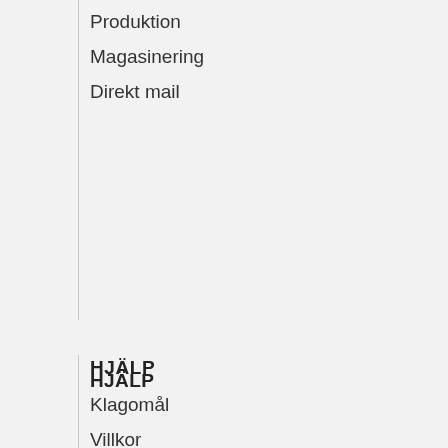Produktion
Magasinering
Direkt mail
HJÄLP
Klagomål
Villkor
Integritet
Kontakta oss
Hållbara förpackningar
Sitemap